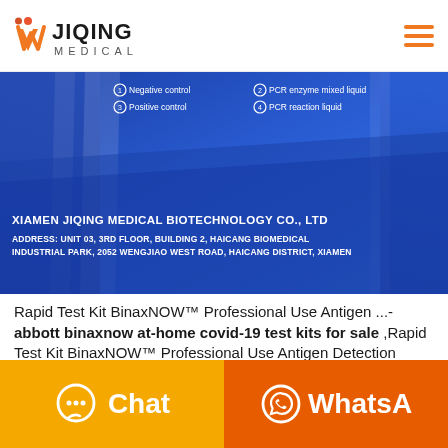JIQING MEDICAL
[Figure (photo): Product packaging image showing blue medical test kit box with text: Negative control, Positive control, PCR enzyme mixed liquid, PCR reaction liquid. Company branding: XIAMEN JIQING MEDICAL BIOTECHNOLOGY CO., LTD. ADDRESS: UNIT 03, 3RD FLOOR, BUILDING 2, HAICANG BIOMEDICAL INDUSTRIAL PARK, 2052 WENGJIAO WEST ROAD, HAICANG DISTRICT, XIAMEN]
Rapid Test Kit BinaxNOW™ Professional Use Antigen ...- abbott binaxnow at-home covid-19 test kits for sale ,Rapid Test Kit BinaxNOW™ Professional Use Antigen Detection COVID-19 Ag Nasal Swab Sample 40 Tests Abbott Rapid Dx North America LLC 195000Abbott Labs Boosts